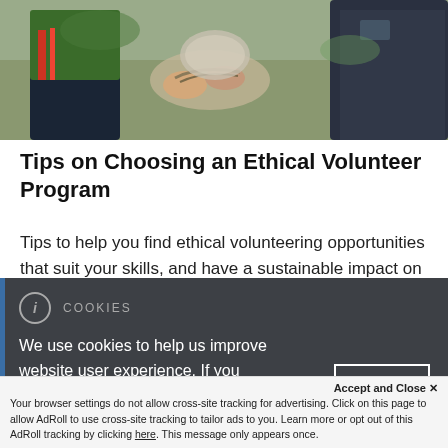[Figure (photo): People handling crafts or natural materials outdoors, showing hands working together]
Tips on Choosing an Ethical Volunteer Program
Tips to help you find ethical volunteering opportunities that suit your skills, and have a sustainable impact on the environment and local communities.
COOKIES
We use cookies to help us improve website user experience. If you continue, we'll assume that you are happy for us to use cookies for this
Accept and Close ✕
Your browser settings do not allow cross-site tracking for advertising. Click on this page to allow AdRoll to use cross-site tracking to tailor ads to you. Learn more or opt out of this AdRoll tracking by clicking here. This message only appears once.